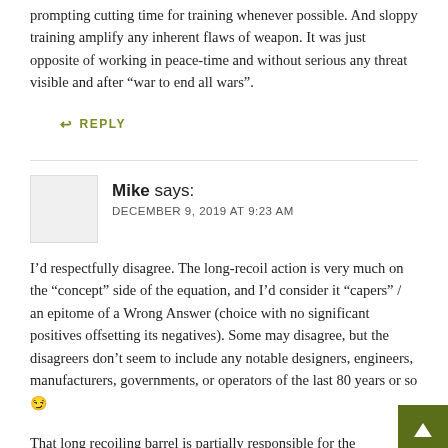prompting cutting time for training whenever possible. And sloppy training amplify any inherent flaws of weapon. It was just opposite of working in peace-time and without serious any threat visible and after “war to end all wars”.
↩ REPLY
Mike says:
DECEMBER 9, 2019 AT 9:23 AM
I’d respectfully disagree. The long-recoil action is very much on the “concept” side of the equation, and I’d consider it “capers” / an epitome of a Wrong Answer (choice with no significant positives offsetting its negatives). Some may disagree, but the disagreers don’t seem to include any notable designers, engineers, manufacturers, governments, or operators of the last 80 years or so 😏
That long recoiling barrel is partially responsible for the